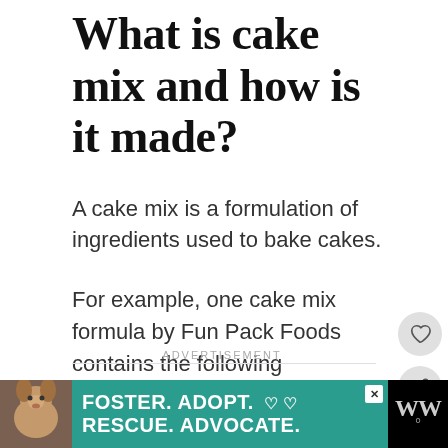What is cake mix and how is it made?
A cake mix is a formulation of ingredients used to bake cakes.
For example, one cake mix formula by Fun Pack Foods contains the following ingredients:
ADVERTISEMENT
[Figure (other): What's Next card: thumbnail image of cocoa puffs with label 'WHAT'S NEXT → Are Cocoa Puffs Vegan...']
[Figure (other): Bottom advertisement banner: dog photo on black background, teal section with text 'FOSTER. ADOPT. ♡♡ RESCUE. ADVOCATE.' with close button, and black logo area with 'WW°']